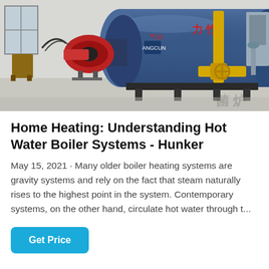[Figure (photo): Industrial hot water boiler system in a facility room. A large blue cylindrical boiler with Chinese characters on the side, a red burner unit on the left, yellow gas pipes on the right, and various mechanical components. The floor is reflective and there is a chair and window visible in the background.]
Home Heating: Understanding Hot Water Boiler Systems - Hunker
May 15, 2021 · Many older boiler heating systems are gravity systems and rely on the fact that steam naturally rises to the highest point in the system. Contemporary systems, on the other hand, circulate hot water through t...
Get Price